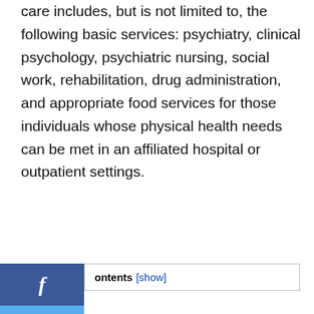care includes, but is not limited to, the following basic services: psychiatry, clinical psychology, psychiatric nursing, social work, rehabilitation, drug administration, and appropriate food services for those individuals whose physical health needs can be met in an affiliated hospital or outpatient settings.
[Figure (other): Facebook share button (dark blue with white 'f' icon)]
[Figure (other): Twitter share button (light blue with white bird icon)]
Contents [show]
We use cookies on our website to give you the most relevant experience by remembering your preferences and repeat visits. By clicking "Accept", you consent to the use of ALL the
[Figure (other): Walgreens advertisement: Shop Beauty with Walgreens, Walgreens Photo, with Walgreens logo and navigation arrow icon]